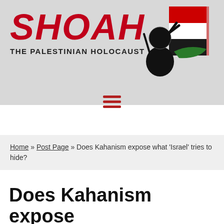[Figure (logo): SHOAH - THE PALESTINIAN HOLOCAUST website logo with red stylized text and a graphic of a masked figure giving a peace sign with a Palestinian flag]
[Figure (infographic): Hamburger menu icon (three horizontal red bars)]
Home » Post Page » Does Kahanism expose what 'Israel' tries to hide?
Does Kahanism expose